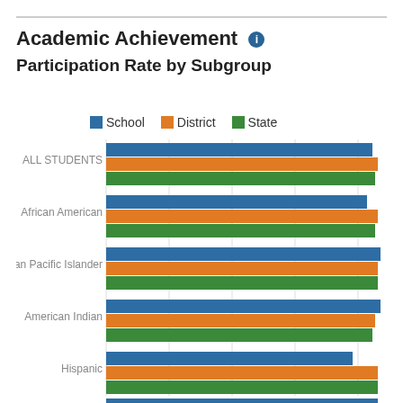Academic Achievement
Participation Rate by Subgroup
[Figure (grouped-bar-chart): Participation Rate by Subgroup]